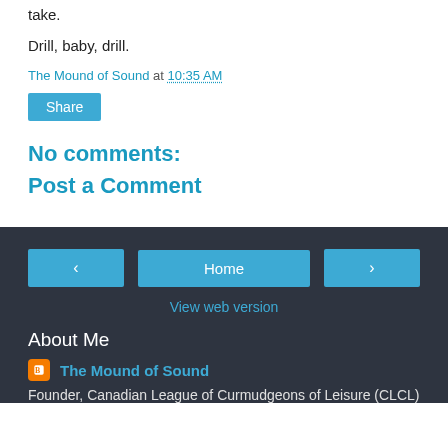take.
Drill, baby, drill.
The Mound of Sound at 10:35 AM
Share
No comments:
Post a Comment
Home
View web version
About Me
The Mound of Sound
Founder, Canadian League of Curmudgeons of Leisure (CLCL)